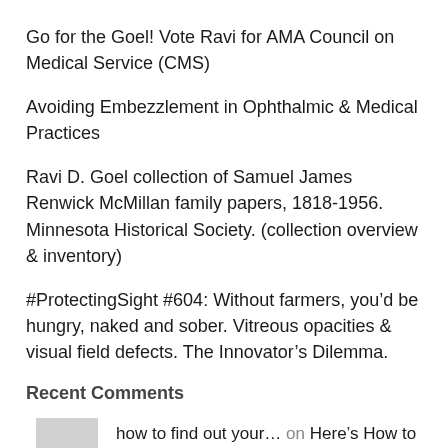Go for the Goel! Vote Ravi for AMA Council on Medical Service (CMS)
Avoiding Embezzlement in Ophthalmic & Medical Practices
Ravi D. Goel collection of Samuel James Renwick McMillan family papers, 1818-1956. Minnesota Historical Society. (collection overview & inventory)
#ProtectingSight #604: Without farmers, you’d be hungry, naked and sober. Vitreous opacities & visual field defects. The Innovator’s Dilemma.
Recent Comments
how to find out your… on Here’s How to Find out if Hall…